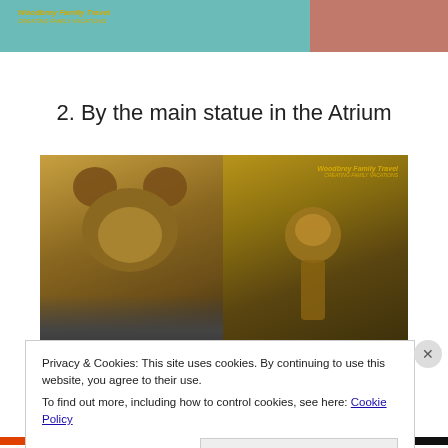[Figure (photo): Two cropped photos at top: left shows a teal/turquoise background with a Woodbrey Family Travel watermark in gold italic text; right shows a person in pink near a railing with red background]
2. By the main statue in the Atrium
[Figure (photo): Two side-by-side photos: left shows a golden Mickey Mouse statue from below with a selfie of a person wearing a cap and sunglasses; right shows a golden sculpture in the ship atrium with a Woodbrey Family Travel watermark]
Privacy & Cookies: This site uses cookies. By continuing to use this website, you agree to their use.
To find out more, including how to control cookies, see here: Cookie Policy